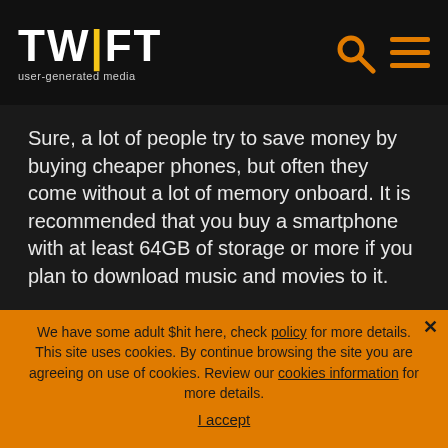TWIFT user-generated media
Sure, a lot of people try to save money by buying cheaper phones, but often they come without a lot of memory onboard. It is recommended that you buy a smartphone with at least 64GB of storage or more if you plan to download music and movies to it.
Apps weigh a lot more these days, and photos can take up almost all of your free disk space if you don't store them in the cloud. But don't forget that many Android
We have some adult $hit here, check policy for more details. This site uses cookies. By continue browsing the site you are agreeing on use of cookies. Review our cookies information for more details.
I accept